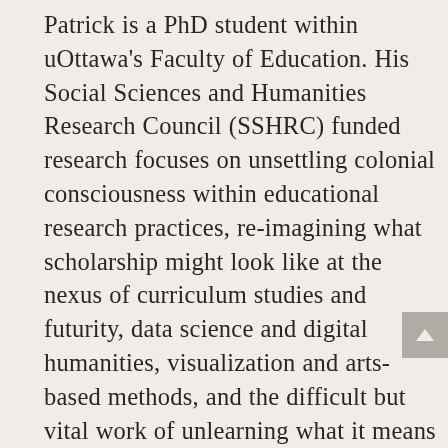Patrick is a PhD student within uOttawa's Faculty of Education. His Social Sciences and Humanities Research Council (SSHRC) funded research focuses on unsettling colonial consciousness within educational research practices, re-imagining what scholarship might look like at the nexus of curriculum studies and futurity, data science and digital humanities, visualization and arts-based methods, and the difficult but vital work of unlearning what it means to live in and as data through listening to the lessons of Indigenous voices and relational ethics — and so what it means for non-Indigenous scholars to engender reconciliatory research and teaching within bodies and institutions that remain bound to